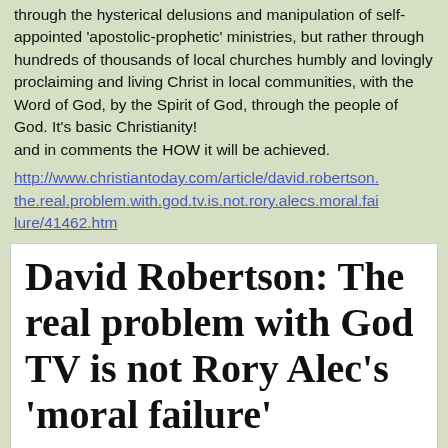through the hysterical delusions and manipulation of self-appointed 'apostolic-prophetic' ministries, but rather through hundreds of thousands of local churches humbly and lovingly proclaiming and living Christ in local communities, with the Word of God, by the Spirit of God, through the people of God. It's basic Christianity! and in comments the HOW it will be achieved.
http://www.christiantoday.com/article/david.robertson.the.real.problem.with.god.tv.is.not.rory.alecs.moral.failure/41462.htm
David Robertson: The real problem with God TV is not Rory Alec's 'moral failure'
Published 09 October 2014  |  David Robertson
Email  Print  [Larger][Smaller] Share xt Si ze